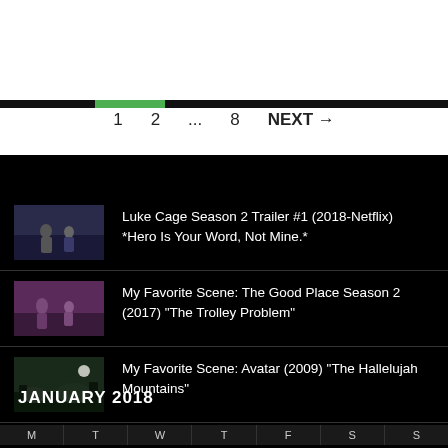1  2  ...  8  NEXT →
Luke Cage Season 2 Trailer #1 (2018-Netflix) *Hero Is Your Word, Not Mine.*
My Favorite Scene: The Good Place Season 2 (2017) "The Trolley Problem"
My Favorite Scene: Avatar (2009) "The Hallelujah Mountains"
JANUARY 2018
| M | T | W | T | F | S | S |
| --- | --- | --- | --- | --- | --- | --- |